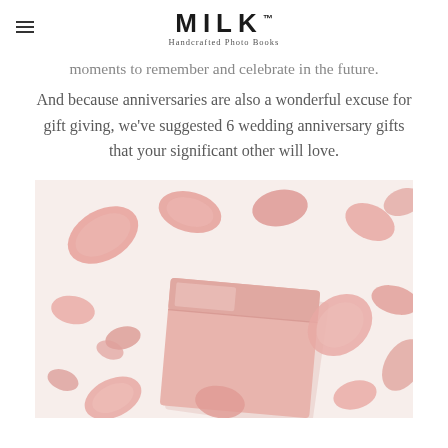MILK™ Handcrafted Photo Books
moments to remember and celebrate in the future.
And because anniversaries are also a wonderful excuse for gift giving, we've suggested 6 wedding anniversary gifts that your significant other will love.
[Figure (photo): A pink gift box surrounded by scattered pink rose petals on a white background, viewed from above.]